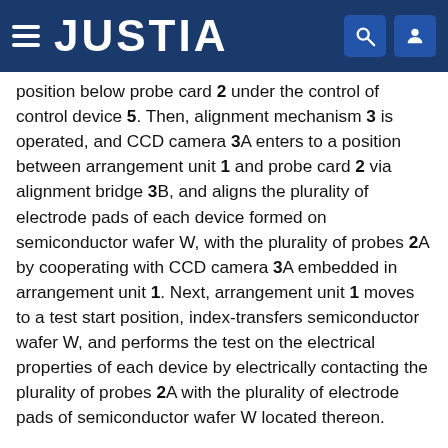JUSTIA
position below probe card 2 under the control of control device 5. Then, alignment mechanism 3 is operated, and CCD camera 3A enters to a position between arrangement unit 1 and probe card 2 via alignment bridge 3B, and aligns the plurality of electrode pads of each device formed on semiconductor wafer W, with the plurality of probes 2A by cooperating with CCD camera 3A embedded in arrangement unit 1. Next, arrangement unit 1 moves to a test start position, index-transfers semiconductor wafer W, and performs the test on the electrical properties of each device by electrically contacting the plurality of probes 2A with the plurality of electrode pads of semiconductor wafer W located thereon.
After the test is completed, CCD camera 3A of alignment mechanism 3 operates under the control of control